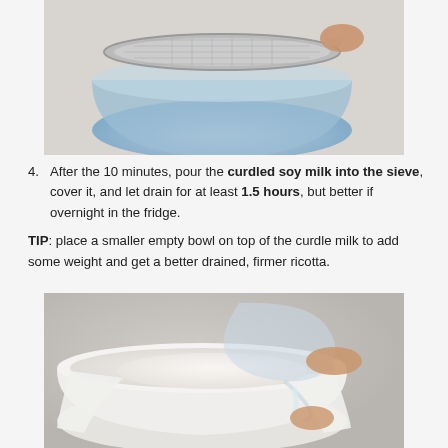[Figure (photo): A metal mesh sieve resting on top of a clear glass bowl on a light grey surface, held by a hand.]
4. After the 10 minutes, pour the curdled soy milk into the sieve, cover it, and let drain for at least 1.5 hours, but better if overnight in the fridge.
TIP: place a smaller empty bowl on top of the curdle milk to add some weight and get a better drained, firmer ricotta.
[Figure (photo): Curdled soy milk being poured from a glass bowl into a white cloth-lined sieve over a white bowl, with liquid draining through.]